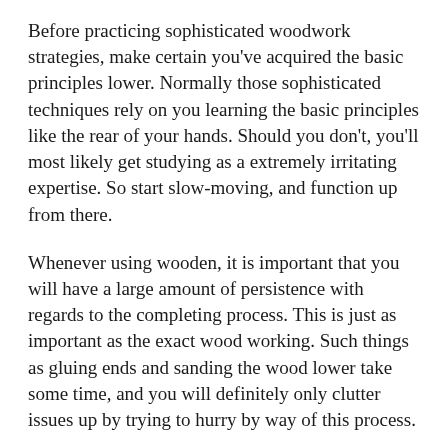Before practicing sophisticated woodwork strategies, make certain you've acquired the basic principles lower. Normally those sophisticated techniques rely on you learning the basic principles like the rear of your hands. Should you don't, you'll most likely get studying as a extremely irritating expertise. So start slow-moving, and function up from there.
Whenever using wooden, it is important that you will have a large amount of persistence with regards to the completing process. This is just as important as the exact wood working. Such things as gluing ends and sanding the wood lower take some time, and you will definitely only clutter issues up by trying to hurry by way of this process.
If you want precise specifications in the 3-ft . range, work with a drafting sq .. These are typically comparatively affordable and are available at any art work source retail store. They may be properly directly and intensely accurate. They can be much less time consuming compared to a framework square and tend to